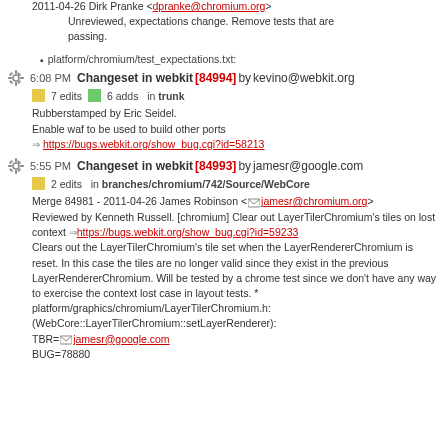2011-04-26 Dirk Pranke <dpranke@chromium.org>
Unreviewed, expectations change. Remove tests that are passing.
platform/chromium/test_expectations.txt:
6:08 PM Changeset in webkit [84994] by kevino@webkit.org
7 edits   6 adds   in trunk
Rubberstamped by Eric Seidel.
Enable waf to be used to build other ports
https://bugs.webkit.org/show_bug.cgi?id=58213
5:55 PM Changeset in webkit [84993] by jamesr@google.com
2 edits   in branches/chromium/742/Source/WebCore
Merge 84981 - 2011-04-26 James Robinson <jamesr@chromium.org>
Reviewed by Kenneth Russell. [chromium] Clear out LayerTilerChromium's tiles on lost context https://bugs.webkit.org/show_bug.cgi?id=59233
Clears out the LayerTilerChromium's tile set when the LayerRendererChromium is reset. In this case the tiles are no longer valid since they exist in the previous LayerRendererChromium. Will be tested by a chrome test since we don't have any way to exercise the context lost case in layout tests. * platform/graphics/chromium/LayerTilerChromium.h: (WebCore::LayerTilerChromium::setLayerRenderer):
TBR=jamesr@google.com
BUG=78880